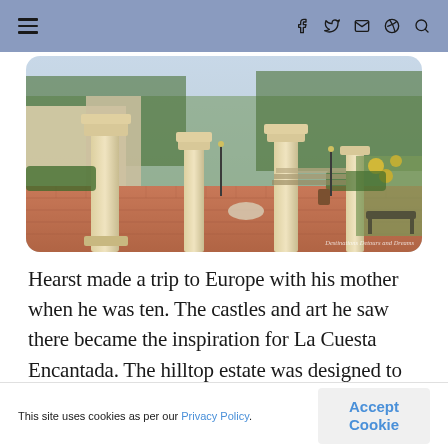Navigation bar with hamburger menu and social icons
[Figure (photo): Outdoor courtyard of Hearst Castle (La Cuesta Encantada) showing ornamental stone columns, brick paved terrace, manicured hedges and gardens, with a building facade visible in background. Watermark reads: Destinations Details and Dreams]
Hearst made a trip to Europe with his mother when he was ten. The castles and art he saw there became the inspiration for La Cuesta Encantada. The hilltop estate was designed to resemble a Mediterranean village with the towered main house as its cathedral and guest
This site uses cookies as per our Privacy Policy.
Accept Cookie